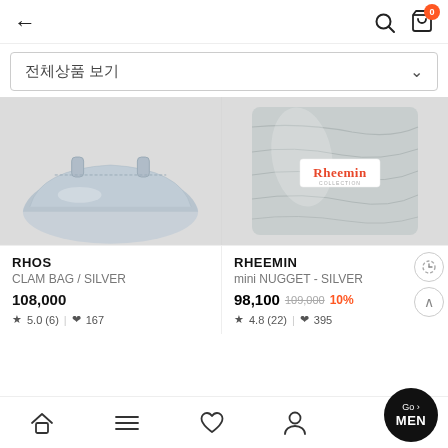← (back) | 🔍 🛒(0)
전체상품 보기
[Figure (photo): RHOS Clam Bag in silver metallic leather, shown from above on a light grey background]
RHOS
CLAM BAG / SILVER
108,000
★ 5.0 (6) | ♥ 167
[Figure (photo): RHEEMIN mini NUGGET bag in crinkled silver metallic material with red Rheemin logo label, on light grey background]
RHEEMIN
mini NUGGET - SILVER
98,100  109,000  10%
★ 4.8 (22) | ♥ 395
Home | Menu | Wishlist | My Page | Go > MEN